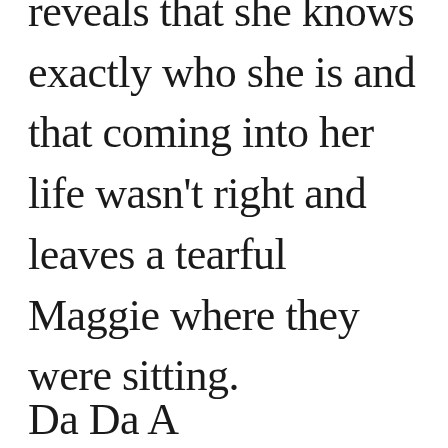reveals that she knows exactly who she is and that coming into her life wasn't right and leaves a tearful Maggie where they were sitting.
Da Da A...